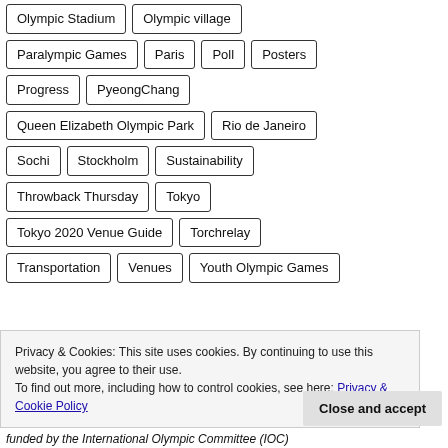Olympic Stadium
Olympic village
Paralympic Games
Paris
Poll
Posters
Progress
PyeongChang
Queen Elizabeth Olympic Park
Rio de Janeiro
Sochi
Stockholm
Sustainability
Throwback Thursday
Tokyo
Tokyo 2020 Venue Guide
Torchrelay
Transportation
Venues
Youth Olympic Games
Privacy & Cookies: This site uses cookies. By continuing to use this website, you agree to their use.
To find out more, including how to control cookies, see here: Privacy & Cookie Policy
funded by the International Olympic Committee (IOC)